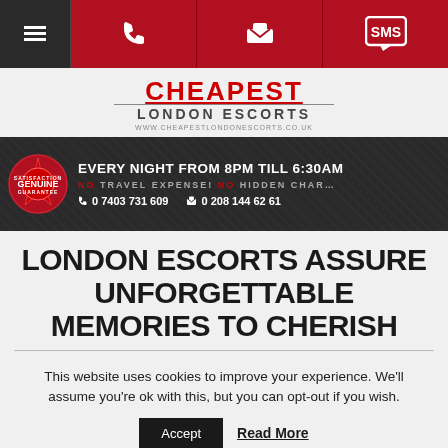Navigation bar with menu, phone, fax/phone, and SMS icons
[Figure (logo): Cheapest London Escorts logo with red text, underline, and website URL]
[Figure (infographic): Dark banner: EVERY NIGHT FROM 8PM TILL 6:30AM, NO TRAVEL EXPENSE! NO HIDDEN CHARGES, 0 7403 731 609, 0 208 144 62 61, with Genuine badge]
LONDON ESCORTS ASSURE UNFORGETTABLE MEMORIES TO CHERISH
This website uses cookies to improve your experience. We'll assume you're ok with this, but you can opt-out if you wish.
Accept  Read More